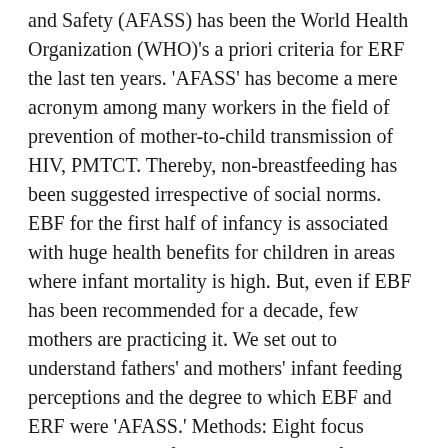(…) and Safety (AFASS) has been the World Health Organization (WHO)'s a priori criteria for ERF the last ten years. 'AFASS' has become a mere acronym among many workers in the field of prevention of mother-to-child transmission of HIV, PMTCT. Thereby, non-breastfeeding has been suggested irrespective of social norms. EBF for the first half of infancy is associated with huge health benefits for children in areas where infant mortality is high. But, even if EBF has been recommended for a decade, few mothers are practicing it. We set out to understand fathers' and mothers' infant feeding perceptions and the degree to which EBF and ERF were 'AFASS.' Methods: Eight focus groups with 81 informants provided information for inductive content analysis. Four groups were held by men among men and four groups by women among women in Mbale District, Eastern Uganda. Results: Two study questions emerged: How are the different feeding options understood and accepted? And, what are men's and women's responsibilities related to infant feeding?